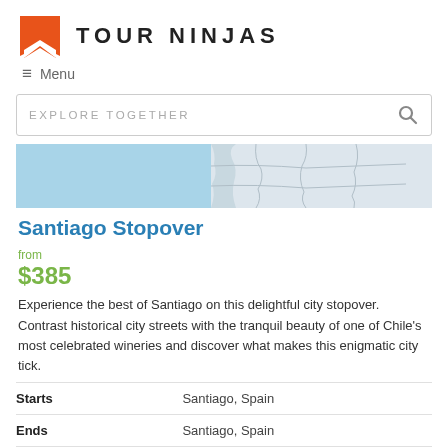TOUR NINJAS
≡ Menu
EXPLORE TOGETHER
[Figure (map): Partial map showing a region with blue water area on the left and light grey land/country outlines on the right, partially cropped.]
Santiago Stopover
from
$385
Experience the best of Santiago on this delightful city stopover. Contrast historical city streets with the tranquil beauty of one of Chile's most celebrated wineries and discover what makes this enigmatic city tick.
| Starts | Santiago, Spain |
| Ends | Santiago, Spain |
| Region | Chile |